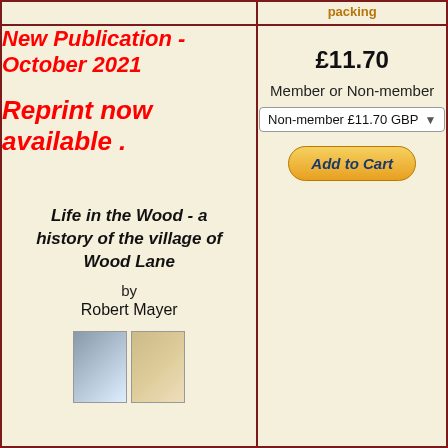packing
New Publication - October 2021

Reprint now available .
Life in the Wood - a history of the village of Wood Lane
by
Robert Mayer
[Figure (photo): Two book covers side by side]
£11.70
Member or Non-member
Non-member £11.70 GBP
Add to Cart